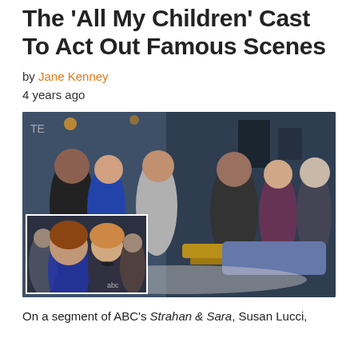The 'All My Children' Cast To Act Out Famous Scenes
by Jane Kenney
4 years ago
[Figure (photo): Two overlapping photos: main photo shows the All My Children cast on a TV set couch with Michael Strahan and Sara Haines; inset shows two women from the soap opera in a dramatic scene.]
On a segment of ABC's Strahan & Sara, Susan Lucci,